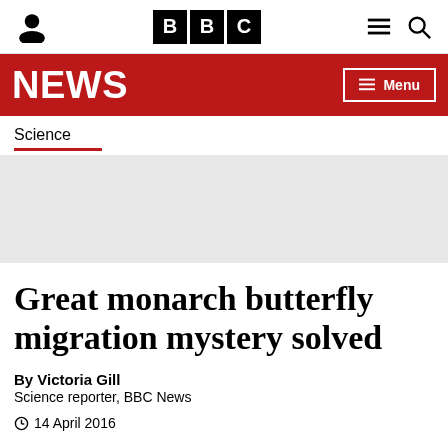BBC NEWS
Science
[Figure (other): Grey image placeholder area]
Great monarch butterfly migration mystery solved
By Victoria Gill
Science reporter, BBC News
14 April 2016